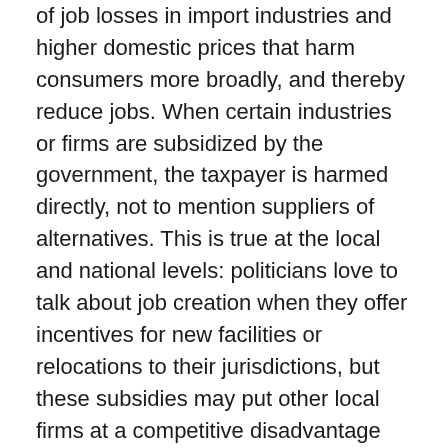of job losses in import industries and higher domestic prices that harm consumers more broadly, and thereby reduce jobs. When certain industries or firms are subsidized by the government, the taxpayer is harmed directly, not to mention suppliers of alternatives. This is true at the local and national levels: politicians love to talk about job creation when they offer incentives for new facilities or relocations to their jurisdictions, but these subsidies may put other local firms at a competitive disadvantage and leave taxpayers holding the bag for public services supplied to the recipient firm. When government undertakes large taxpayer-funded infrastructure projects, which might or might not boost productivity, the taxes are damaging and the projects are often poorly planned and lack effective cost controls. Jobs are not a reason to support such projects.